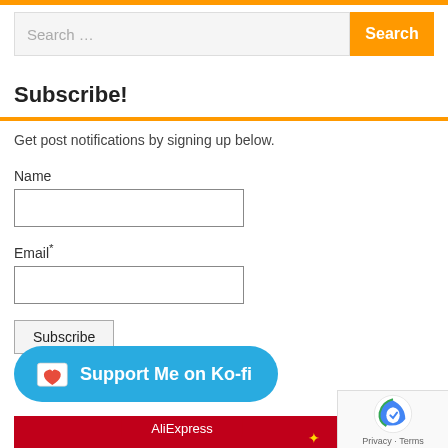[Figure (screenshot): Search bar with text 'Search ...' and orange 'Search' button]
Subscribe!
Get post notifications by signing up below.
Name
Email*
Subscribe
[Figure (other): Ko-fi support button with blue background and text 'Support Me on Ko-fi']
[Figure (other): AliExpress banner in red]
[Figure (other): reCAPTCHA widget with Privacy and Terms links]